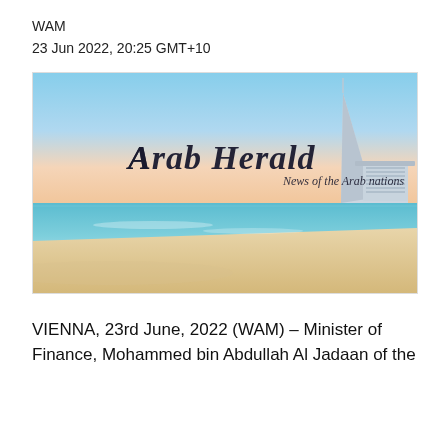WAM
23 Jun 2022, 20:25 GMT+10
[Figure (photo): Arab Herald banner image showing the Burj Al Arab hotel in Dubai with a beach and ocean in the foreground, with the text 'Arab Herald — News of the Arab nations' overlaid in decorative blackletter font]
VIENNA, 23rd June, 2022 (WAM) – Minister of Finance, Mohammed bin Abdullah Al Jadaan of the